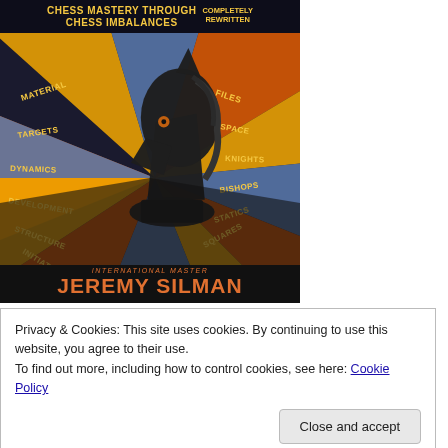[Figure (illustration): Book cover of 'Chess Mastery Through Chess Imbalances' by International Master Jeremy Silman. The cover features a large black chess knight piece centered on a radial sunburst background in orange, yellow, and blue tones. Around the knight are chess strategy terms: Files, Space, Knights, Bishops, Statics, Squares, Initiative, Structure, Development, Dynamics, Targets, Material. The top reads 'CHESS MASTERY THROUGH CHESS IMBALANCES' and 'COMPLETELY REWRITTEN'. The bottom reads 'INTERNATIONAL MASTER' and 'JEREMY SILMAN' in large orange letters.]
Privacy & Cookies: This site uses cookies. By continuing to use this website, you agree to their use.
To find out more, including how to control cookies, see here: Cookie Policy
Close and accept